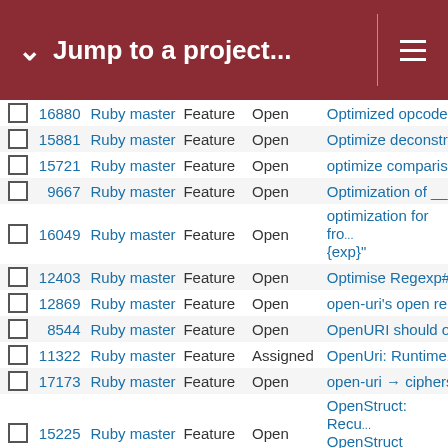Jump to a project...
|  | # | Project | Type | Status | Subject |
| --- | --- | --- | --- | --- | --- |
|  | 16880 | Ruby master | Feature | Open | Optimized opcode... |
|  | 15881 | Ruby master | Feature | Open | Optimize deconstr... |
|  | 15721 | Ruby master | Feature | Open | optimize comparis... |
|  | 9667 | Ruby master | Feature | Open | Optimization of __... |
|  | 16049 | Ruby master | Feature | Open | optimization for fro... {exp}" |
|  | 12403 | Ruby master | Feature | Open | Optimise Regexp#... |
|  | 12869 | Ruby master | Feature | Open | open-uri's open re... |
|  | 8544 | Ruby master | Feature | Open | OpenURI should o... |
|  | 11322 | Ruby master | Feature | Assigned | OpenUri: Runtime... |
|  | 17173 | Ruby master | Feature | Open | open-uri → ciphers |
|  | 15225 | Ruby master | Feature | Open | OpenStruct: Recu... OpenStruct object... |
|  | 14555 | Ruby master | Feature | Open | OpenStruct perfor... |
|  | 8126 | Ruby master | Feature | Assigned | OpenSSL::SSL::S... messages |
|  | 17316 | Ruby master | Feature | Open | On memoization |
|  | 15463 | Ruby master | Feature | Open | oneshot coverage... |